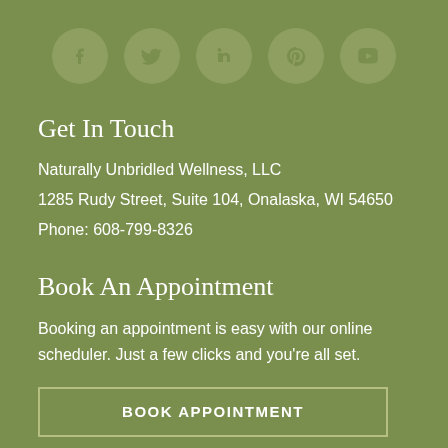[Figure (illustration): Five social media icons in circular buttons: Facebook, Twitter, LinkedIn, Pinterest, YouTube]
Get In Touch
Naturally Unbridled Wellness, LLC
1285 Rudy Street, Suite 104, Onalaska, WI 54650
Phone: 608-799-8326
Book An Appointment
Booking an appointment is easy with our online scheduler. Just a few clicks and you're all set.
BOOK APPOINTMENT